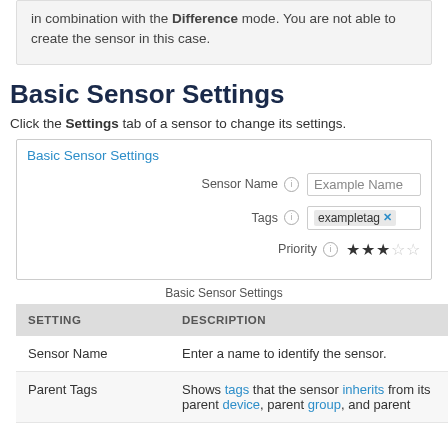in combination with the Difference mode. You are not able to create the sensor in this case.
Basic Sensor Settings
Click the Settings tab of a sensor to change its settings.
[Figure (screenshot): UI box showing Basic Sensor Settings panel with fields: Sensor Name (Example Name), Tags (exampletag), Priority (3 stars out of 5)]
Basic Sensor Settings
| SETTING | DESCRIPTION |
| --- | --- |
| Sensor Name | Enter a name to identify the sensor. |
| Parent Tags | Shows tags that the sensor inherits from its parent device, parent group, and parent |